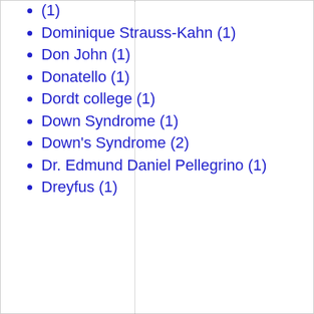(1)
Dominique Strauss-Kahn (1)
Don John (1)
Donatello (1)
Dordt college (1)
Down Syndrome (1)
Down's Syndrome (2)
Dr. Edmund Daniel Pellegrino (1)
Dreyfus (1)